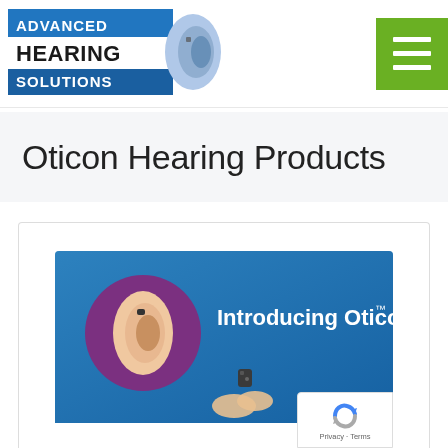[Figure (logo): Advanced Hearing Solutions logo with blue background, ear graphic, and bold black text on white]
[Figure (other): Green hamburger menu button with three white horizontal lines]
Oticon Hearing Products
[Figure (photo): Promotional image for Introducing Oticon Own hearing aid on blue background with purple circle showing in-ear placement and person holding tiny hearing device]